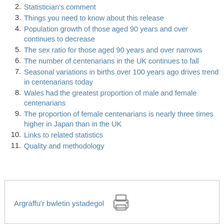2. Statistician's comment
3. Things you need to know about this release
4. Population growth of those aged 90 years and over continues to decrease
5. The sex ratio for those aged 90 years and over narrows
6. The number of centenarians in the UK continues to fall
7. Seasonal variations in births over 100 years ago drives trend in centenarians today
8. Wales had the greatest proportion of male and female centenarians
9. The proportion of female centenarians is nearly three times higher in Japan than in the UK
10. Links to related statistics
11. Quality and methodology
Argraffu'r bwletin ystadegol